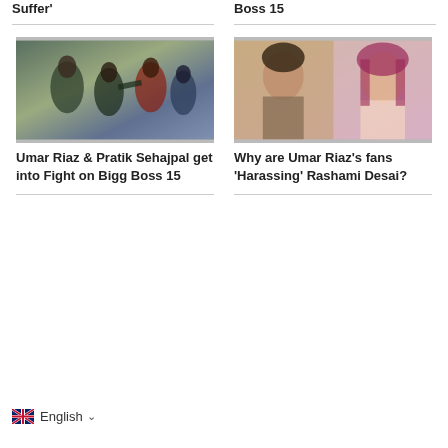Suffer'
Boss 15
[Figure (photo): Group of men appearing to fight or argue outdoors on Bigg Boss 15 set]
Umar Riaz & Pratik Sehajpal get into Fight on Bigg Boss 15
[Figure (photo): Split photo of Umar Riaz (man with curly hair) and Rashami Desai (woman with pink-tinged hair)]
Why are Umar Riaz's fans 'Harassing' Rashami Desai?
English